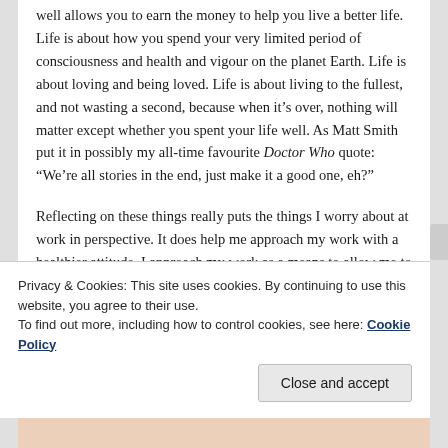well allows you to earn the money to help you live a better life. Life is about how you spend your very limited period of consciousness and health and vigour on the planet Earth. Life is about loving and being loved. Life is about living to the fullest, and not wasting a second, because when it's over, nothing will matter except whether you spent your life well. As Matt Smith put it in possibly my all-time favourite Doctor Who quote: “We’re all stories in the end, just make it a good one, eh?”
Reflecting on these things really puts the things I worry about at work in perspective. It does help me approach my work with a healthier attitude. I approach my work as a means to allow me to live a happier, more comfortable, more fulfilling life, rather than as life itself, which is how
Privacy & Cookies: This site uses cookies. By continuing to use this website, you agree to their use.
To find out more, including how to control cookies, see here: Cookie Policy
Close and accept